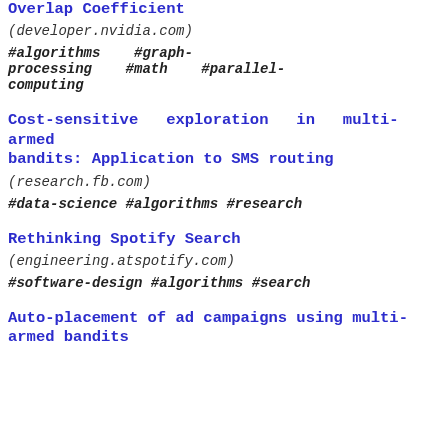Similarity in Graphs: Jaccard Versus the Overlap Coefficient
(developer.nvidia.com)
#algorithms    #graph-processing    #math    #parallel-computing
Cost-sensitive exploration in multi-armed bandits: Application to SMS routing
(research.fb.com)
#data-science #algorithms #research
Rethinking Spotify Search
(engineering.atspotify.com)
#software-design #algorithms #search
Auto-placement of ad campaigns using multi-armed bandits